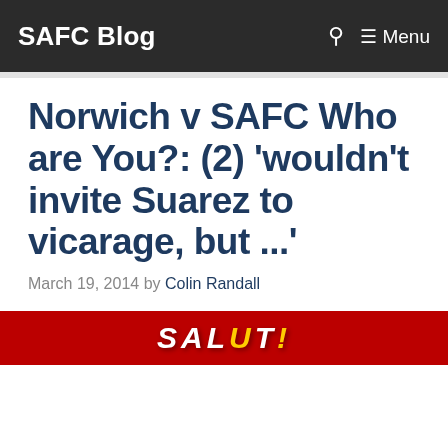SAFC Blog
Norwich v SAFC Who are You?: (2) 'wouldn't invite Suarez to vicarage, but ...'
March 19, 2014 by Colin Randall
[Figure (illustration): Red banner image with white italic text reading 'SALUT!' with an exclamation mark]